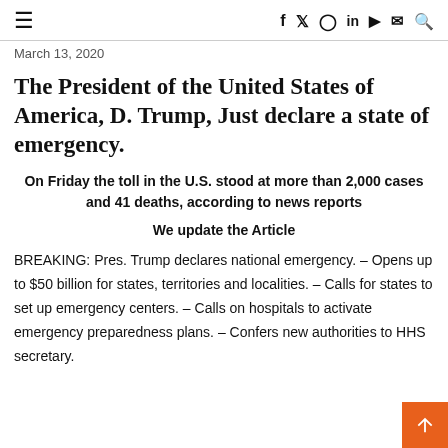≡  f  🐦  ◻  in  ▶  ✉  🔍
March 13, 2020
The President of the United States of America, D. Trump, Just declare a state of emergency.
On Friday the toll in the U.S. stood at more than 2,000 cases and 41 deaths, according to news reports
We update the Article
BREAKING: Pres. Trump declares national emergency. – Opens up to $50 billion for states, territories and localities. – Calls for states to set up emergency centers. – Calls on hospitals to activate emergency preparedness plans. – Confers new authorities to HHS secretary.